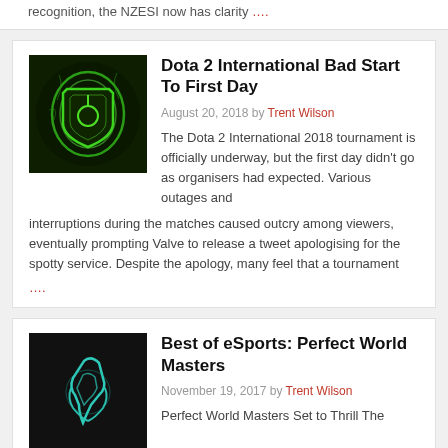recognition, the NZESI now has clarity ….
Dota 2 International Bad Start To First Day
[Figure (photo): Dark image of Dota 2 shield logo glowing green]
August 20, 2018 by Trent Wilson
The Dota 2 International 2018 tournament is officially underway, but the first day didn't go as organisers had expected. Various outages and interruptions during the matches caused outcry among viewers, eventually prompting Valve to release a tweet apologising for the spotty service. Despite the apology, many feel that a tournament
….
Best of eSports: Perfect World Masters
[Figure (photo): Dark image with teal/cyan eSports logo]
November 19, 2017 by Trent Wilson
Perfect World Masters Set to Thrill The